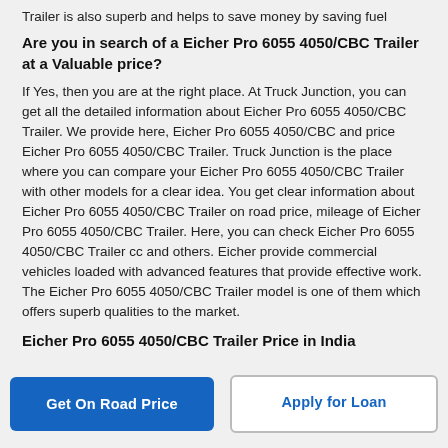Trailer is also superb and helps to save money by saving fuel
Are you in search of a Eicher Pro 6055 4050/CBC Trailer at a Valuable price?
If Yes, then you are at the right place. At Truck Junction, you can get all the detailed information about Eicher Pro 6055 4050/CBC Trailer. We provide here, Eicher Pro 6055 4050/CBC and price Eicher Pro 6055 4050/CBC Trailer. Truck Junction is the place where you can compare your Eicher Pro 6055 4050/CBC Trailer with other models for a clear idea. You get clear information about Eicher Pro 6055 4050/CBC Trailer on road price, mileage of Eicher Pro 6055 4050/CBC Trailer. Here, you can check Eicher Pro 6055 4050/CBC Trailer cc and others. Eicher provide commercial vehicles loaded with advanced features that provide effective work. The Eicher Pro 6055 4050/CBC Trailer model is one of them which offers superb qualities to the market.
Eicher Pro 6055 4050/CBC Trailer Price in India
Get On Road Price
Apply for Loan